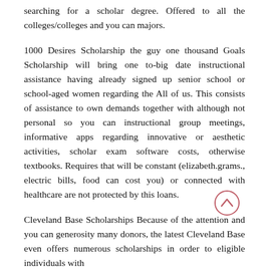searching for a scholar degree. Offered to all the colleges/colleges and you can majors.
1000 Desires Scholarship the guy one thousand Goals Scholarship will bring one to-big date instructional assistance having already signed up senior school or school-aged women regarding the All of us. This consists of assistance to own demands together with although not personal so you can instructional group meetings, informative apps regarding innovative or aesthetic activities, scholar exam software costs, otherwise textbooks. Requires that will be constant (elizabeth.grams., electric bills, food can cost you) or connected with healthcare are not protected by this loans.
Cleveland Base Scholarships Because of the attention and you can generosity many donors, the latest Cleveland Base even offers numerous scholarships in order to eligible individuals with